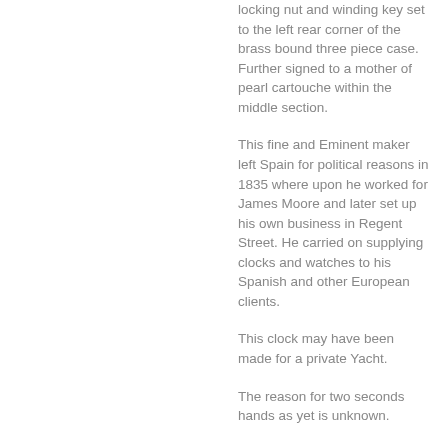locking nut and winding key set to the left rear corner of the brass bound three piece case. Further signed to a mother of pearl cartouche within the middle section.
This fine and Eminent maker left Spain for political reasons in 1835 where upon he worked for James Moore and later set up his own business in Regent Street. He carried on supplying clocks and watches to his Spanish and other European clients.
This clock may have been made for a private Yacht.
The reason for two seconds hands as yet is unknown.